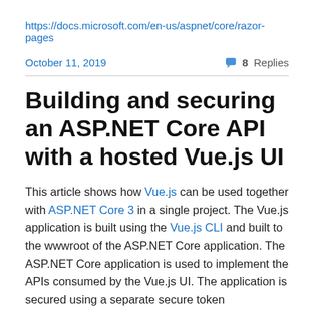https://docs.microsoft.com/en-us/aspnet/core/razor-pages
October 11, 2019                                      8 Replies
Building and securing an ASP.NET Core API with a hosted Vue.js UI
This article shows how Vue.js can be used together with ASP.NET Core 3 in a single project. The Vue.js application is built using the Vue.js CLI and built to the wwwroot of the ASP.NET Core application. The ASP.NET Core application is used to implement the APIs consumed by the Vue.js UI. The application is secured using a separate secure token